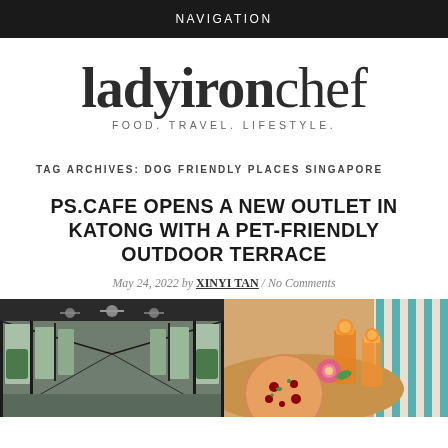NAVIGATION
[Figure (logo): ladyironchef logo with tagline FOOD. TRAVEL. LIFESTYLE.]
TAG ARCHIVES: DOG FRIENDLY PLACES SINGAPORE
PS.CAFE OPENS A NEW OUTLET IN KATONG WITH A PET-FRIENDLY OUTDOOR TERRACE
May 24, 2022 by XINYI TAN / No Comments
[Figure (photo): Two photos side by side: left shows an indoor corridor with ceiling fans and black metal frame windows; right shows a table with orange drinks, a pink flower, and a pizza.]